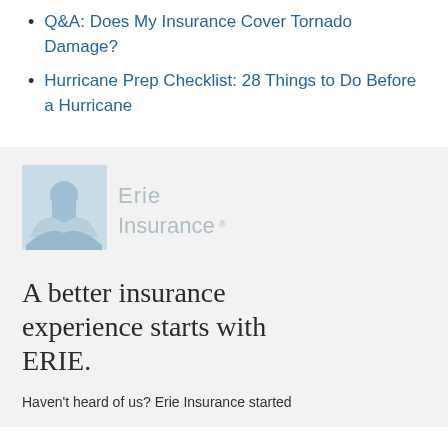Q&A: Does My Insurance Cover Tornado Damage?
Hurricane Prep Checklist: 28 Things to Do Before a Hurricane
[Figure (logo): Erie Insurance logo with building/eagle icon in light blue and gray text]
A better insurance experience starts with ERIE.
Haven't heard of us? Erie Insurance started